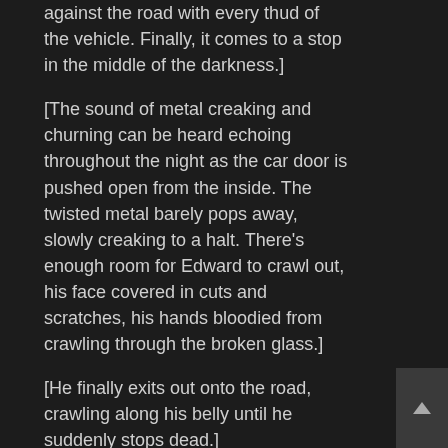against the road with every thud of the vehicle. Finally, it comes to a stop in the middle of the darkness.]
[The sound of metal creaking and churning can be heard echoing throughout the night as the car door is pushed open from the inside. The twisted metal barely pops away, slowly creaking to a halt. There’s enough room for Edward to crawl out, his face covered in cuts and scratches, his hands bloodied from crawling through the broken glass.]
[He finally exits out onto the road, crawling along his belly until he suddenly stops dead.]
[Boots.]
[Newton looks up, his glasses cracked and shattered; his vision doubled.]